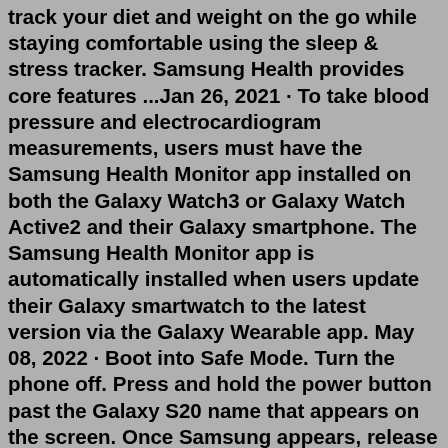track your diet and weight on the go while staying comfortable using the sleep & stress tracker. Samsung Health provides core features ...Jan 26, 2021 · To take blood pressure and electrocardiogram measurements, users must have the Samsung Health Monitor app installed on both the Galaxy Watch3 or Galaxy Watch Active2 and their Galaxy smartphone. The Samsung Health Monitor app is automatically installed when users update their Galaxy smartwatch to the latest version via the Galaxy Wearable app. May 08, 2022 · Boot into Safe Mode. Turn the phone off. Press and hold the power button past the Galaxy S20 name that appears on the screen. Once Samsung appears, release the power button and immediately press ... Active Level 1. Options. 02-13-2021 11:04 PM in. Galaxy Store (Apps & more) After the latest system update to One UI 3 upgrade samsung notes app is not working. Neither existing notes is opening nor it is allowing new note creation. 8 Likes.Health Platform for Health apps on Watch and Phone The New Health Platform provides access to a broad set of features in